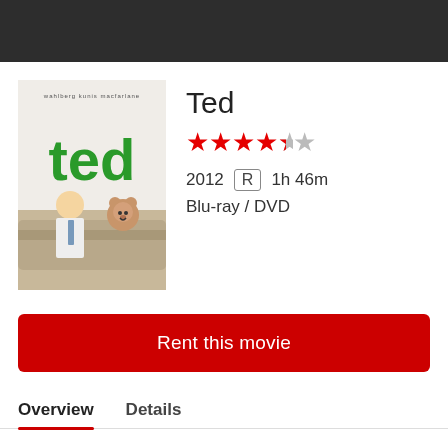[Figure (screenshot): Dark navigation bar at top of page]
[Figure (photo): Movie poster for Ted (2012) showing man and teddy bear on couch with 'ted' in large green letters]
Ted
4.5 out of 5 stars rating
2012   R   1h 46m
Blu-ray / DVD
Rent this movie
Overview   Details
John Bennett's constant companion, Ted -- a hard-partying, foul-